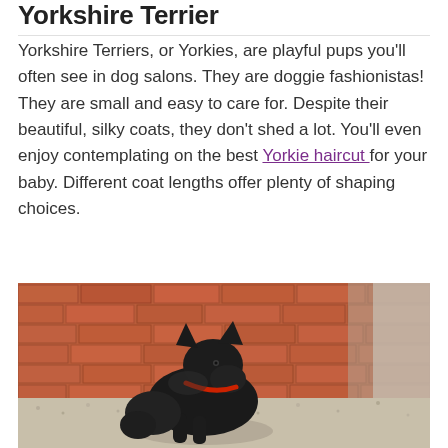Yorkshire Terrier
Yorkshire Terriers, or Yorkies, are playful pups you'll often see in dog salons. They are doggie fashionistas! They are small and easy to care for. Despite their beautiful, silky coats, they don't shed a lot. You'll even enjoy contemplating on the best Yorkie haircut for your baby. Different coat lengths offer plenty of shaping choices.
[Figure (photo): A black Scottish Terrier dog sitting on gravel in front of a red brick wall, wearing a red collar, photographed in sunlight.]